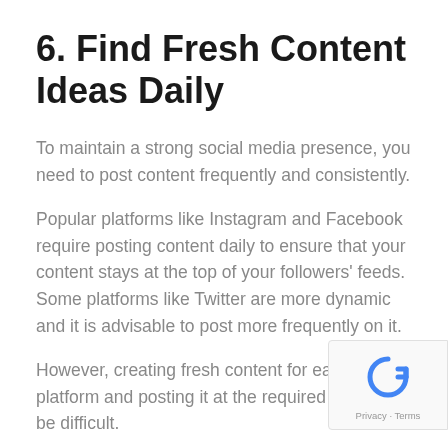6. Find Fresh Content Ideas Daily
To maintain a strong social media presence, you need to post content frequently and consistently.
Popular platforms like Instagram and Facebook require posting content daily to ensure that your content stays at the top of your followers' feeds. Some platforms like Twitter are more dynamic and it is advisable to post more frequently on it.
However, creating fresh content for each platform and posting it at the required frequ… can be difficult.